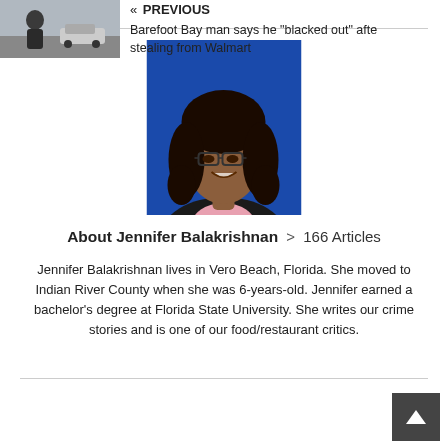[Figure (photo): Headshot photo of Jennifer Balakrishnan, a young woman with long dark curly hair and glasses, wearing a black blazer and pink top, against a blue background.]
About Jennifer Balakrishnan  >  166 Articles
Jennifer Balakrishnan lives in Vero Beach, Florida. She moved to Indian River County when she was 6-years-old. Jennifer earned a bachelor’s degree at Florida State University. She writes our crime stories and is one of our food/restaurant critics.
[Figure (photo): Small thumbnail photo of an older bald man outdoors near a parking lot.]
« PREVIOUS
Barefoot Bay man says he “blacked out” after stealing from Walmart